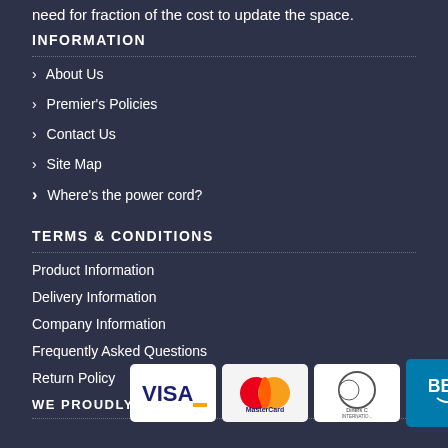need for fraction of the cost to update the space.
INFORMATION
> About Us
> Premier's Policies
> Contact Us
> Site Map
> Where's the power cord?
TERMS & CONDITIONS
Product Information
Delivery Information
Company Information
Frequently Asked Questions
Return Policy
WE PROUDLY ACCEPT
[Figure (logo): Payment logos: Visa, MasterCard, Diners Club International, BBB Accredited Business]